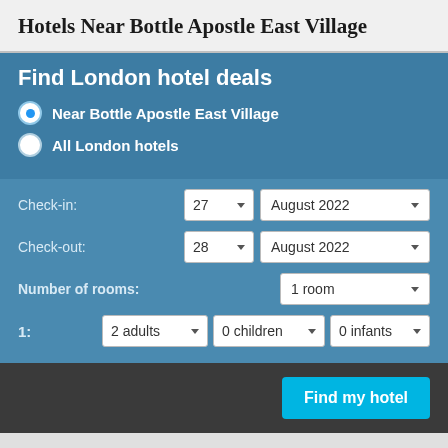Hotels Near Bottle Apostle East Village
Find London hotel deals
Near Bottle Apostle East Village
All London hotels
Check-in: 27 August 2022
Check-out: 28 August 2022
Number of rooms: 1 room
1: 2 adults 0 children 0 infants
Find my hotel